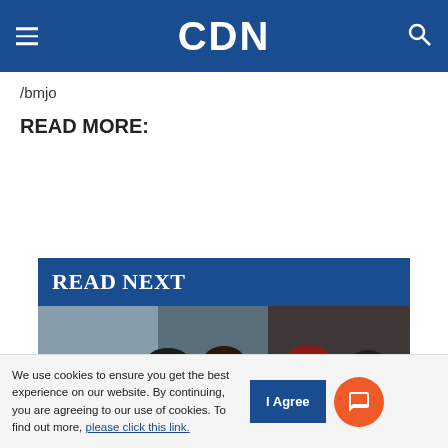CDN
/bmjo
READ MORE:
READ NEXT
[Figure (photo): People in a crowd/group scene, partially visible]
We use cookies to ensure you get the best experience on our website. By continuing, you are agreeing to our use of cookies. To find out more, please click this link.